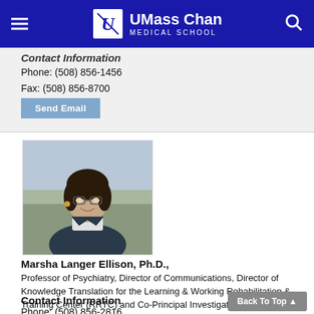UMass Chan Medical School
Contact Information
Phone: (508) 856-1456
Fax: (508) 856-8700
Send Email
[Figure (photo): Portrait photo of Marsha Langer Ellison, a woman with short dark hair and glasses, wearing a dark jacket, photographed outdoors.]
Marsha Langer Ellison, Ph.D., Professor of Psychiatry, Director of Communications, Director of Knowledge Translation for the Learning & Working Rehabilitation & Training Center (RRTC) and Co-Principal Investigator for the Center on Knowledge Translation on Employment Research (CeKTER)
Curriculum Vitae
Contact Information
Phone: (508) 856-2816
Back To Top ▲